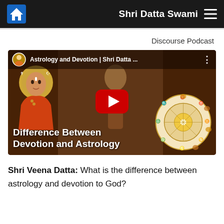Shri Datta Swami
Discourse Podcast
[Figure (screenshot): YouTube video thumbnail for 'Astrology and Devotion | Shri Datta ...' showing a spiritual figure painting in the background, a swami portrait on the left, a zodiac wheel on the right, YouTube play button in the center, and text 'Difference Between Devotion and Astrology' at the bottom.]
Shri Veena Datta: What is the difference between astrology and devotion to God?